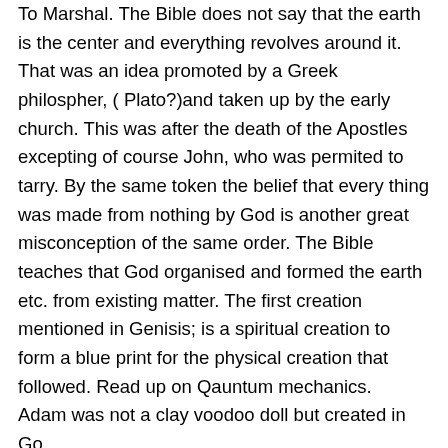To Marshal. The Bible does not say that the earth is the center and everything revolves around it. That was an idea promoted by a Greek philosophepher, ( Plato?)and taken up by the early church. This was after the death of the Apostles excepting of course John, who was permited to tarry. By the same token the belief that every thing was made from nothing by God is another great misconception of the same order. The Bible teaches that God organised and formed the earth etc. from existing matter. The first creation mentioned in Genisis; is a spiritual creation to form a blue print for the physical creation that followed. Read up on Qauntum mechanics.
Adam was not a clay voodoo doll but created in God...